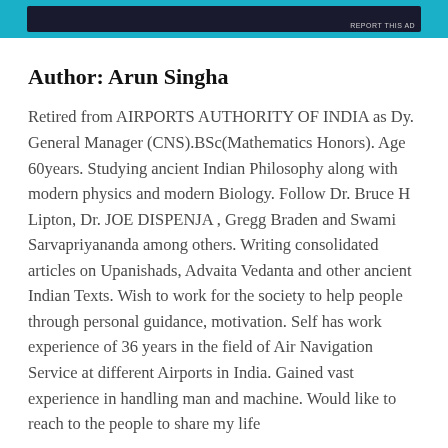[Figure (other): Advertisement banner at top of page with dark background image and cyan/teal colored strip]
Author: Arun Singha
Retired from AIRPORTS AUTHORITY OF INDIA as Dy. General Manager (CNS).BSc(Mathematics Honors). Age 60years. Studying ancient Indian Philosophy along with modern physics and modern Biology. Follow Dr. Bruce H Lipton, Dr. JOE DISPENJA , Gregg Braden and Swami Sarvapriyananda among others. Writing consolidated articles on Upanishads, Advaita Vedanta and other ancient Indian Texts. Wish to work for the society to help people through personal guidance, motivation. Self has work experience of 36 years in the field of Air Navigation Service at different Airports in India. Gained vast experience in handling man and machine. Would like to reach to the people to share my life